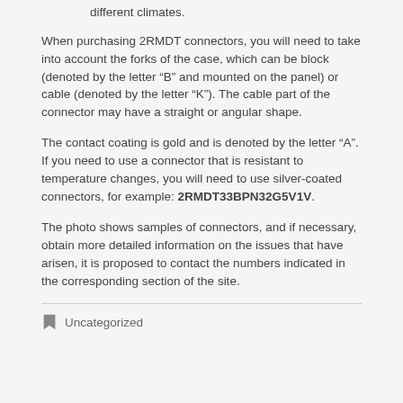different climates.
When purchasing 2RMDT connectors, you will need to take into account the forks of the case, which can be block (denoted by the letter “B” and mounted on the panel) or cable (denoted by the letter “K”). The cable part of the connector may have a straight or angular shape.
The contact coating is gold and is denoted by the letter “A”. If you need to use a connector that is resistant to temperature changes, you will need to use silver-coated connectors, for example: 2RMDT33BPN32G5V1V.
The photo shows samples of connectors, and if necessary, obtain more detailed information on the issues that have arisen, it is proposed to contact the numbers indicated in the corresponding section of the site.
Uncategorized